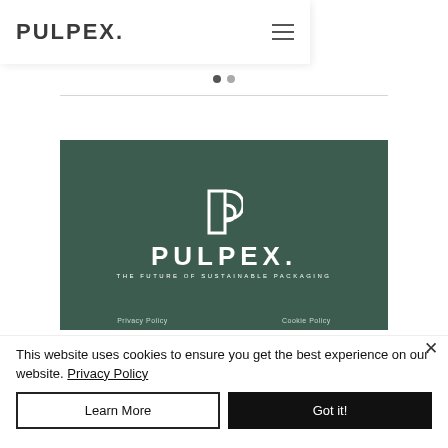[Figure (logo): Pulpex navigation bar with logo text PULPEX. and hamburger menu icon]
[Figure (logo): Dark green Pulpex brand block with white P icon, PULPEX. wordmark, and tagline THE FUTURE OF SUSTAINABLE PACKAGING]
Privacy Policy   Cookie Policy
This website uses cookies to ensure you get the best experience on our website. Privacy Policy
Learn More
Got it!